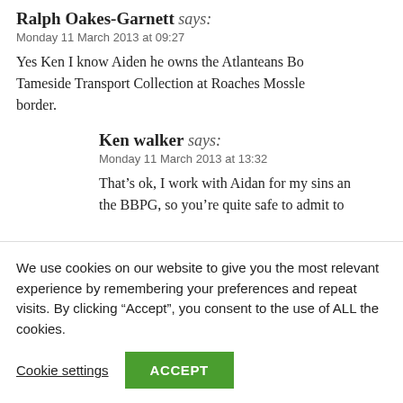Ralph Oakes-Garnett says:
Monday 11 March 2013 at 09:27
Yes Ken I know Aiden he owns the Atlanteans Bo... Tameside Transport Collection at Roaches Mossle... border.
Ken walker says:
Monday 11 March 2013 at 13:32
That’s ok, I work with Aidan for my sins an... the BBPG, so you’re quite safe to admit to
We use cookies on our website to give you the most relevant experience by remembering your preferences and repeat visits. By clicking “Accept”, you consent to the use of ALL the cookies.
Cookie settings
ACCEPT